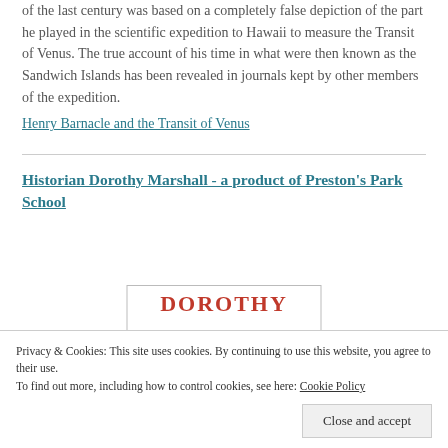of the last century was based on a completely false depiction of the part he played in the scientific expedition to Hawaii to measure the Transit of Venus. The true account of his time in what were then known as the Sandwich Islands has been revealed in journals kept by other members of the expedition.
Henry Barnacle and the Transit of Venus
Historian Dorothy Marshall - a product of Preston's Park School
[Figure (illustration): Book cover showing title DOROTHY in large red letters and subtitle A Memoir in italic]
Privacy & Cookies: This site uses cookies. By continuing to use this website, you agree to their use. To find out more, including how to control cookies, see here: Cookie Policy
Close and accept